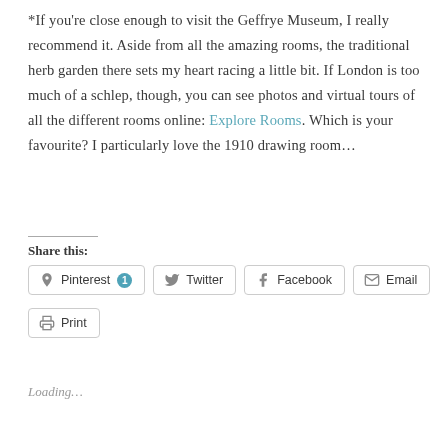*If you're close enough to visit the Geffrye Museum, I really recommend it. Aside from all the amazing rooms, the traditional herb garden there sets my heart racing a little bit. If London is too much of a schlep, though, you can see photos and virtual tours of all the different rooms online: Explore Rooms. Which is your favourite? I particularly love the 1910 drawing room...
Share this:
Pinterest 1 Twitter Facebook Email Print
Loading...